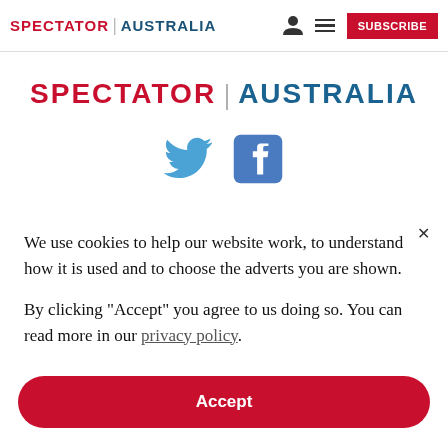SPECTATOR | AUSTRALIA  [user icon] [menu] SUBSCRIBE
[Figure (logo): Spectator Australia logo in large red and blue text with Twitter and Facebook social icons below]
We use cookies to help our website work, to understand how it is used and to choose the adverts you are shown.
By clicking "Accept" you agree to us doing so. You can read more in our privacy policy.
Accept